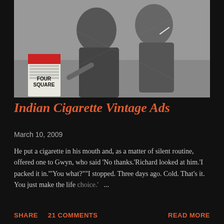[Figure (photo): Black and white photograph of two young people, a woman and a man, with a Four Square cigarette pack visible in the lower left of the image.]
Indian Cigarette Vintage Ads
March 10, 2009
He put a cigarette in his mouth and, as a matter of silent routine, offered one to Gwyn, who said 'No thanks.'Richard looked at him.'I packed it in.'"You what?""I stopped. Three days ago. Cold. That's it. You just make the life choice." ...
SHARE   21 COMMENTS   READ MORE